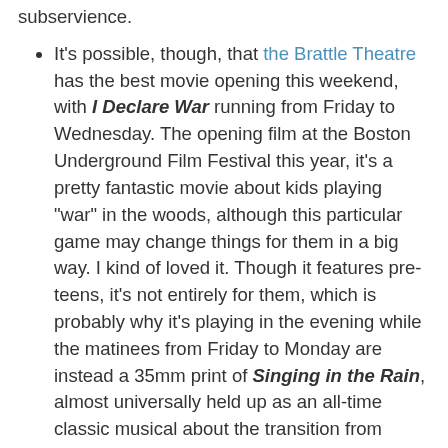subservience.
It's possible, though, that the Brattle Theatre has the best movie opening this weekend, with I Declare War running from Friday to Wednesday. The opening film at the Boston Underground Film Festival this year, it's a pretty fantastic movie about kids playing "war" in the woods, although this particular game may change things for them in a big way. I kind of loved it. Though it features pre-teens, it's not entirely for them, which is probably why it's playing in the evening while the matinees from Friday to Monday are instead a 35mm print of Singing in the Rain, almost universally held up as an all-time classic musical about the transition from sound to silents, with Gene Kelly starring and directing with Stanley Donen, alongside Donal O'Connor & Debbie Reynolds as co-stars. A musical film of a different type takes over on Thursday the 5th, with a 40th Anniversary screening of The Harder they